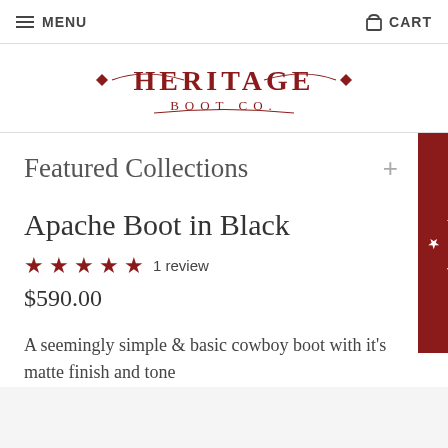MENU   CART
[Figure (logo): Heritage Boot Co. logo with decorative diamond and scroll accents, text in dark red serif font]
Featured Collections +
Apache Boot in Black
★★★★★ 1 review
$590.00
A seemingly simple & basic cowboy boot with it's matte finish and tone